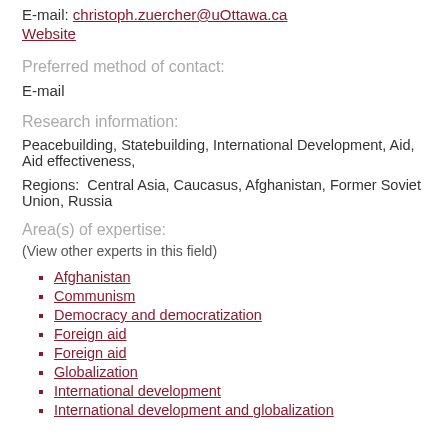E-mail: christoph.zuercher@uOttawa.ca
Website
Preferred method of contact:
E-mail
Research information:
Peacebuilding, Statebuilding, International Development, Aid, Aid effectiveness,
Regions:  Central Asia, Caucasus, Afghanistan, Former Soviet Union, Russia
Area(s) of expertise:
(View other experts in this field)
Afghanistan
Communism
Democracy and democratization
Foreign aid
Foreign aid
Globalization
International development
International development and globalization